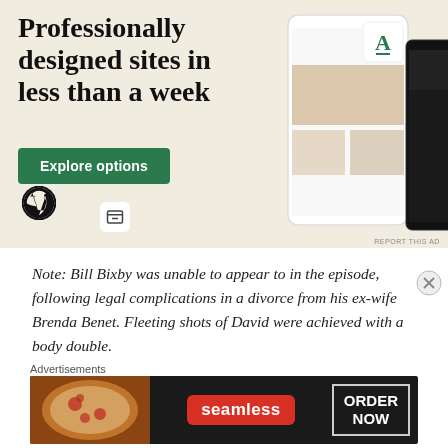[Figure (illustration): WordPress advertisement banner with beige background showing 'Professionally designed sites in less than a week' headline, green 'Explore options' button, WordPress logo, and phone mockup showing website designs]
Note: Bill Bixby was unable to appear to in the episode, following legal complications in a divorce from his ex-wife Brenda Benet. Fleeting shots of David were achieved with a body double.
Advertisements
[Figure (illustration): Seamless food delivery advertisement showing pizza image on left, Seamless red logo in center, and 'ORDER NOW' button on dark background]